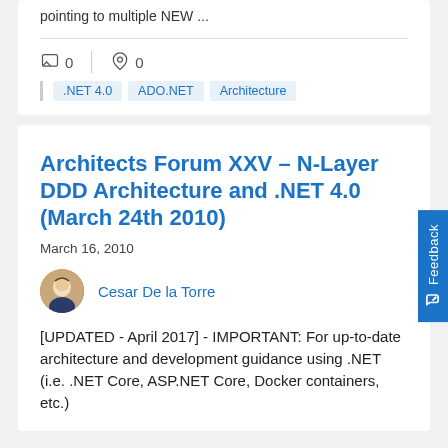pointing to multiple NEW ...
0  0
.NET 4.0
ADO.NET
Architecture
Architects Forum XXV – N-Layer DDD Architecture and .NET 4.0 (March 24th 2010)
March 16, 2010
Cesar De la Torre
[UPDATED - April 2017] - IMPORTANT:  For up-to-date architecture and development guidance using .NET (i.e. .NET Core, ASP.NET Core, Docker containers, etc.)